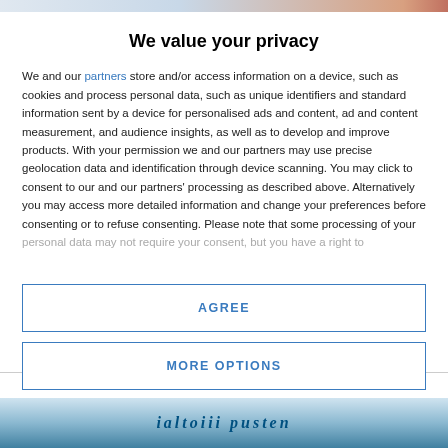[Figure (screenshot): Top strip showing partial webpage header with blurred/cropped content]
We value your privacy
We and our partners store and/or access information on a device, such as cookies and process personal data, such as unique identifiers and standard information sent by a device for personalised ads and content, ad and content measurement, and audience insights, as well as to develop and improve products. With your permission we and our partners may use precise geolocation data and identification through device scanning. You may click to consent to our and our partners' processing as described above. Alternatively you may access more detailed information and change your preferences before consenting or to refuse consenting. Please note that some processing of your personal data may not require your consent, but you have a right to
AGREE
MORE OPTIONS
[Figure (screenshot): Bottom strip showing partial webpage content with colored background]